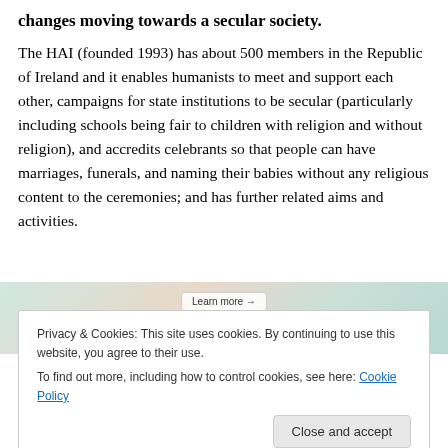changes moving towards a secular society.
The HAI (founded 1993) has about 500 members in the Republic of Ireland and it enables humanists to meet and support each other, campaigns for state institutions to be secular (particularly including schools being fair to children with religion and without religion), and accredits celebrants so that people can have marriages, funerals, and naming their babies without any religious content to the ceremonies; and has further related aims and activities.
[Figure (photo): Partial view of a webpage image strip with colorful background, showing a 'Learn more →' button overlay.]
Privacy & Cookies: This site uses cookies. By continuing to use this website, you agree to their use.
To find out more, including how to control cookies, see here: Cookie Policy
Close and accept